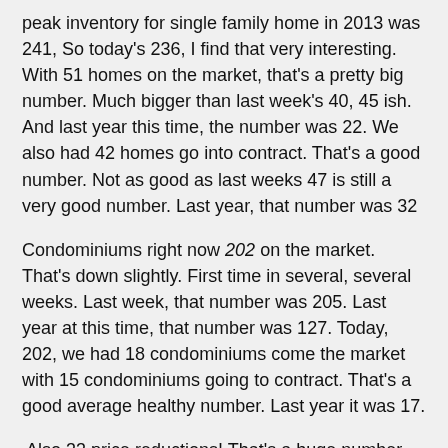peak inventory for single family home in 2013 was 241, So today's 236, I find that very interesting. With 51 homes on the market, that's a pretty big number. Much bigger than last week's 40, 45 ish. And last year this time, the number was 22. We also had 42 homes go into contract. That's a good number. Not as good as last weeks 47 is still a very good number. Last year, that number was 32
Condominiums right now 202 on the market. That's down slightly. First time in several, several weeks. Last week, that number was 205. Last year at this time, that number was 127. Today, 202, we had 18 condominiums come the market with 15 condominiums going to contract. That's a good average healthy number. Last year it was 17.
Also 33 price reductions! That's a huge number. Last year, the number was 22. We also had 11 homes either canceled, withdraw or expire from the marketplace.
So total total from South San Francisco to Redwood City